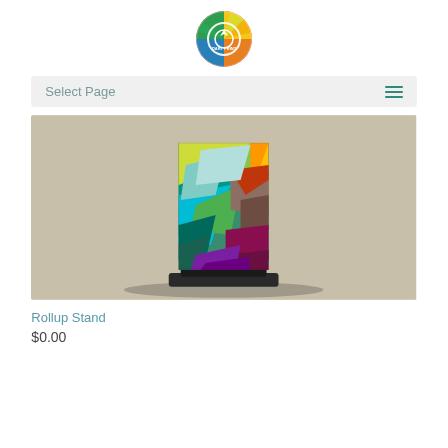[Figure (logo): Dart Print circular logo with colorful rainbow design and white arrow/target icon in center, text DART PRINT]
Select Page
[Figure (photo): Photo of a rollup banner stand with colorful geometric triangle pattern in green, yellow, teal, orange, brown, and purple on a beige/gray background, with a dark base stand]
Rollup Stand
$0.00